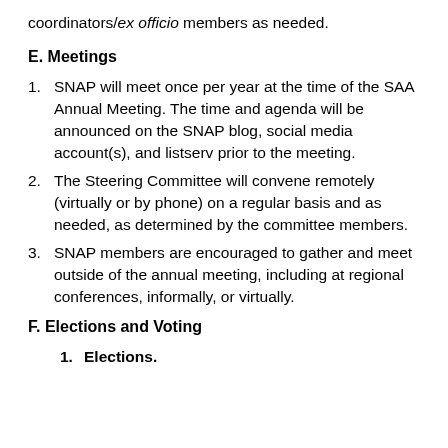coordinators/ex officio members as needed.
E. Meetings
SNAP will meet once per year at the time of the SAA Annual Meeting. The time and agenda will be announced on the SNAP blog, social media account(s), and listserv prior to the meeting.
The Steering Committee will convene remotely (virtually or by phone) on a regular basis and as needed, as determined by the committee members.
SNAP members are encouraged to gather and meet outside of the annual meeting, including at regional conferences, informally, or virtually.
F. Elections and Voting
Elections.